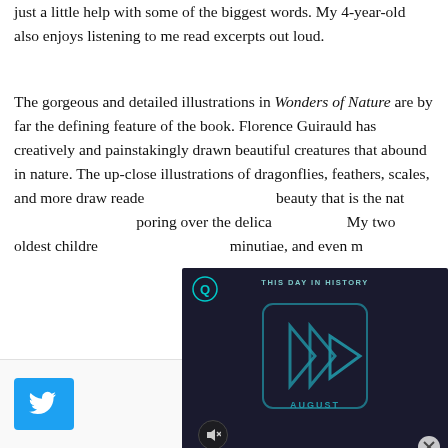just a little help with some of the biggest words. My 4-year-old also enjoys listening to me read excerpts out loud.
The gorgeous and detailed illustrations in Wonders of Nature are by far the defining feature of the book. Florence Guirauld has creatively and painstakingly drawn beautiful creatures that abound in nature. The up-close illustrations of dragonflies, feathers, scales, and more draw reade[rs into the incredible] beauty that is the nat[ural world. Hours spent] poring over the delica[te details...] My two oldest childre[n spend time finding the] minutiae, and even m[ore...]
[Figure (screenshot): A dark-themed video player overlay showing 'THIS DAY IN HISTORY' with a play button graphic and 'AUGUST' label. Has a mute button (speaker with X) at bottom left and a close (X) button at bottom right. A circular logo with Q is in top left of the overlay.]
50 SHARES